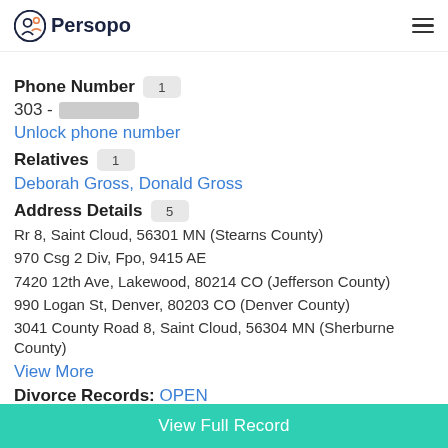Denver, CO
Persopo
Phone Number 1
303 - [redacted]
Unlock phone number
Relatives 1
Deborah Gross, Donald Gross
Address Details 5
Rr 8, Saint Cloud, 56301 MN (Stearns County)
970 Csg 2 Div, Fpo, 9415 AE
7420 12th Ave, Lakewood, 80214 CO (Jefferson County)
990 Logan St, Denver, 80203 CO (Denver County)
3041 County Road 8, Saint Cloud, 56304 MN (Sherburne County)
View More
Divorce Records: OPEN
View Full Record